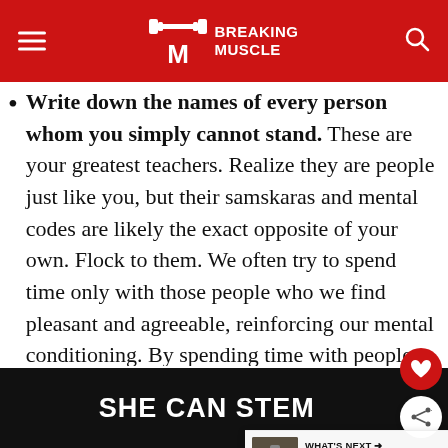BREAKING MUSCLE
Write down the names of every person whom you simply cannot stand. These are your greatest teachers. Realize they are people just like you, but their samskaras and mental codes are likely the exact opposite of your own. Flock to them. We often try to spend time only with those people who we find pleasant and agreeable, reinforcing our mental conditioning. By spending time with people you specifically do not like, learn more about yourself.1
SHE CAN STEM